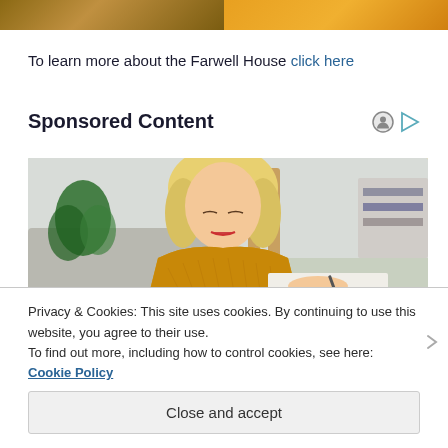[Figure (photo): Two cropped photos at the top of the page: left shows a warm brown/golden interior scene, right shows an orange-toned scene]
To learn more about the Farwell House click here
Sponsored Content
[Figure (photo): Photo of a blonde woman in a yellow/mustard knit sweater writing or reading at a table, with a plant and couch in the background]
Privacy & Cookies: This site uses cookies. By continuing to use this website, you agree to their use.
To find out more, including how to control cookies, see here: Cookie Policy
Close and accept